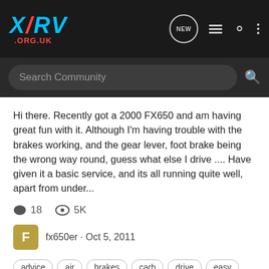XRV .ORG.UK
Search Community
Hi there. Recently got a 2000 FX650 and am having great fun with it. Although I'm having trouble with the brakes working, and the gear lever, foot brake being the wrong way round, guess what else I drive .... Have given it a basic service, and its all running quite well, apart from under...
18  5K
fx650er · Oct 5, 2011
advice  air  brakes  carb  drive  easy  engine  foot  forum  fun  gear  gear lever  give  great  guess  noticed  petrol  probs  round  rpm  run  running  service  trouble  tube  wound  wrong
Stubbsie's Crash